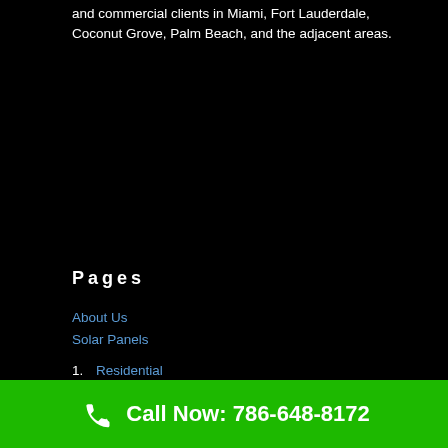and commercial clients in Miami, Fort Lauderdale, Coconut Grove, Palm Beach, and the adjacent areas.
Pages
About Us
Solar Panels
1. Residential
2. Commercial
ROOFING
Metal Roofs
Standing Seam Metal Roof Deals
Call Now: 786-648-8172